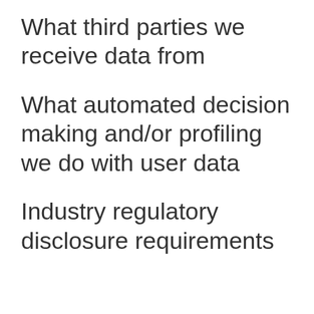What third parties we receive data from
What automated decision making and/or profiling we do with user data
Industry regulatory disclosure requirements